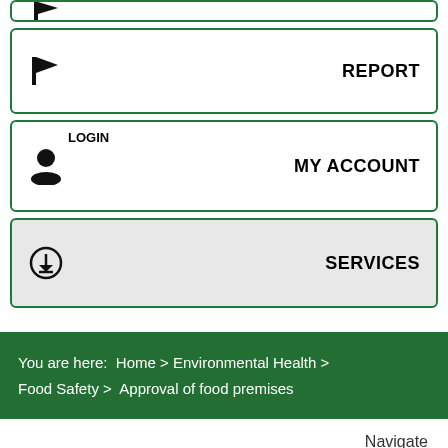[Figure (screenshot): Partial top card (cropped at top edge)]
REPORT (with flag icon)
LOGIN / MY ACCOUNT (with user icon)
SERVICES (with download icon, grey background)
You are here: Home > Environmental Health > Food Safety > Approval of food premises
Navigate